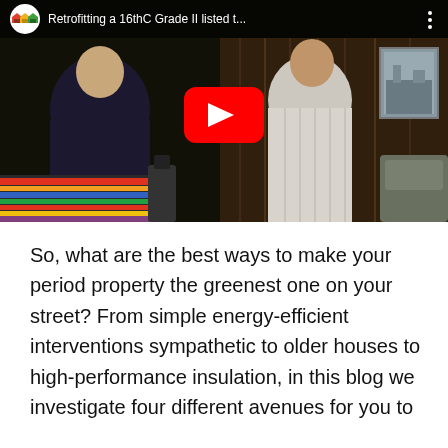[Figure (screenshot): YouTube video thumbnail showing two people in a dark room. Title reads 'Retrofitting a 16thC Grade II listed t...' with a channel logo (coloured houses icon) on the left and a three-dot menu icon on the right. A large red YouTube play button is centred on the video.]
So, what are the best ways to make your period property the greenest one on your street? From simple energy-efficient interventions sympathetic to older houses to high-performance insulation, in this blog we investigate four different avenues for you to